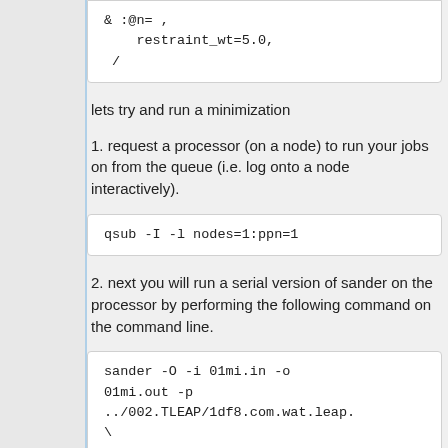& :@n= ,
    restraint_wt=5.0,
 /
lets try and run a minimization
1. request a processor (on a node) to run your jobs on from the queue (i.e. log onto a node interactively).
qsub -I -l nodes=1:ppn=1
2. next you will run a serial version of sander on the processor by performing the following command on the command line.
sander -O -i 01mi.in -o 01mi.out -p ../002.TLEAP/1df8.com.wat.leap.\
-c